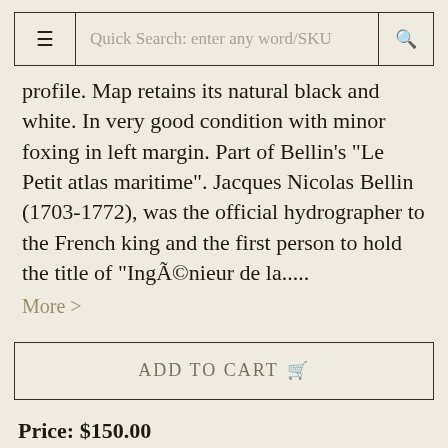Quick Search: enter any word/SKU
profile. Map retains its natural black and white. In very good condition with minor foxing in left margin. Part of Bellin's "Le Petit atlas maritime". Jacques Nicolas Bellin (1703-1772), was the official hydrographer to the French king and the first person to hold the title of "Ingénieur de la.....
More >
ADD TO CART
Price: $150.00
Item #263537